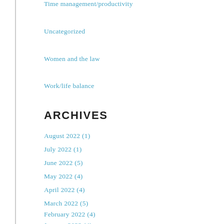Time management/productivity
Uncategorized
Women and the law
Work/life balance
ARCHIVES
August 2022 (1)
July 2022 (1)
June 2022 (5)
May 2022 (4)
April 2022 (4)
March 2022 (5)
February 2022 (4)
January 2022 (4)
December 2021 (5)